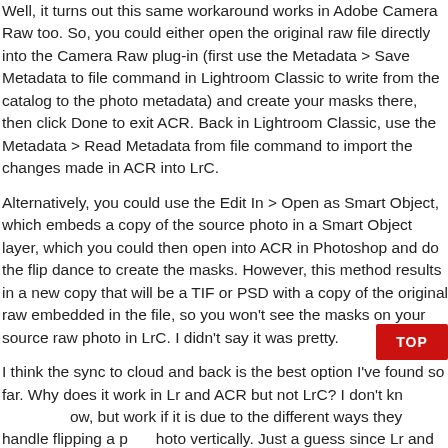Well, it turns out this same workaround works in Adobe Camera Raw too. So, you could either open the original raw file directly into the Camera Raw plug-in (first use the Metadata > Save Metadata to file command in Lightroom Classic to write from the catalog to the photo metadata) and create your masks there, then click Done to exit ACR. Back in Lightroom Classic, use the Metadata > Read Metadata from file command to import the changes made in ACR into LrC.
Alternatively, you could use the Edit In > Open as Smart Object, which embeds a copy of the source photo in a Smart Object layer, which you could then open into ACR in Photoshop and do the flip dance to create the masks. However, this method results in a new copy that will be a TIF or PSD with a copy of the original raw embedded in the file, so you won't see the masks on your source raw photo in LrC. I didn't say it was pretty.
I think the sync to cloud and back is the best option I've found so far. Why does it work in Lr and ACR but not LrC? I don't know, but wonder if it is due to the different ways they handle flipping a photo vertically. Just a guess since Lr and ACR are similar in how they do it. Let me know if you find something better.